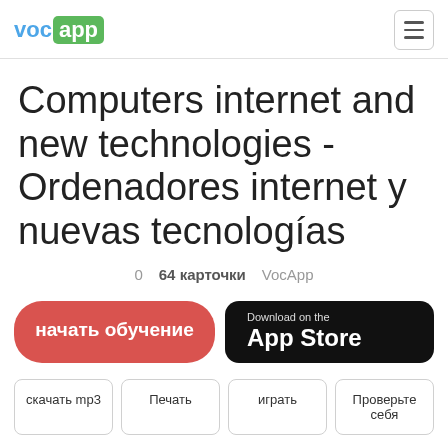[Figure (logo): VocApp logo with 'voc' in blue and 'app' in white on green rounded rectangle]
Computers internet and new technologies - Ordenadores internet y nuevas tecnologías
0   64 карточки   VocApp
начать обучение
Download on the App Store
скачать mp3   Печать   играть   Проверьте себя